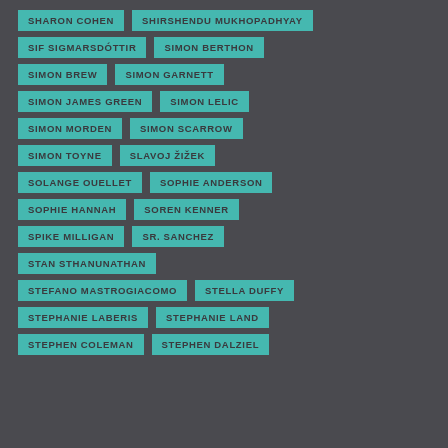SHARON COHEN
SHIRSHENDU MUKHOPADHYAY
SIF SIGMARSDÓTTIR
SIMON BERTHON
SIMON BREW
SIMON GARNETT
SIMON JAMES GREEN
SIMON LELIC
SIMON MORDEN
SIMON SCARROW
SIMON TOYNE
SLAVOJ ŽIŽEK
SOLANGE OUELLET
SOPHIE ANDERSON
SOPHIE HANNAH
SOREN KENNER
SPIKE MILLIGAN
SR. SANCHEZ
STAN STHANUNATHAN
STEFANO MASTROGIACOMO
STELLA DUFFY
STEPHANIE LABERIS
STEPHANIE LAND
STEPHEN COLEMAN
STEPHEN DALZIEL